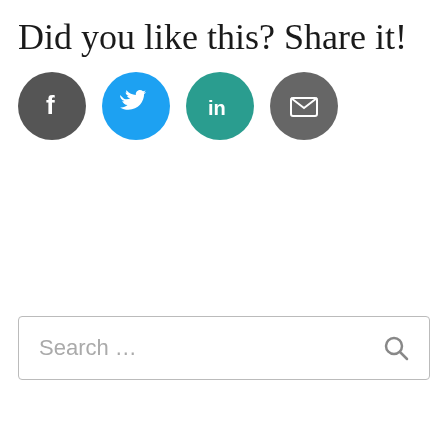Did you like this? Share it!
[Figure (infographic): Four social sharing icon buttons in circles: Facebook (dark grey), Twitter (blue), LinkedIn (teal), Email (dark grey)]
Search ...